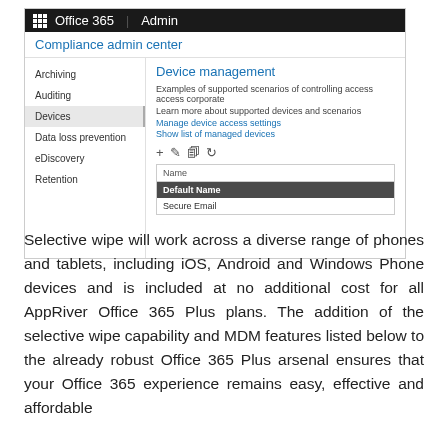[Figure (screenshot): Screenshot of Office 365 Admin Compliance admin center showing Device management panel with navigation items (Archiving, Auditing, Devices selected, Data loss prevention, eDiscovery, Retention) and a device policy list with Default Name and Secure Email entries.]
Selective wipe will work across a diverse range of phones and tablets, including iOS, Android and Windows Phone devices and is included at no additional cost for all AppRiver Office 365 Plus plans. The addition of the selective wipe capability and MDM features listed below to the already robust Office 365 Plus arsenal ensures that your Office 365 experience remains easy, effective and affordable